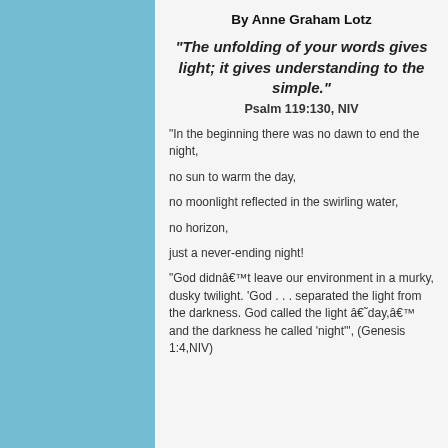By Anne Graham Lotz
"The unfolding of your words gives light; it gives understanding to the simple."
Psalm 119:130, NIV
"In the beginning there was no dawn to end the night,

no sun to warm the day,

no moonlight reflected in the swirling water,

no horizon,

just a never-ending night!

"God didnâ€™t leave our environment in a murky, dusky twilight. 'God . . . separated the light from the darkness. God called the light â€˜day,â€™ and the darkness he called 'night'", (Genesis 1:4,NIV)